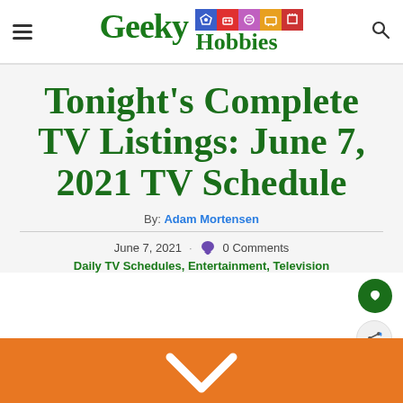Geeky Hobbies
Tonight's Complete TV Listings: June 7, 2021 TV Schedule
By: Adam Mortensen
June 7, 2021 · 0 Comments
Daily TV Schedules, Entertainment, Television
[Figure (illustration): Orange banner at bottom with white chevron V shape]